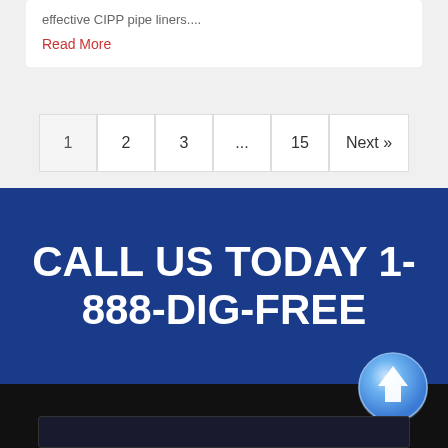effective CIPP pipe liners....
Read More
1  2  3  ...  15  Next »
CALL US TODAY 1-888-DIG-FREE
[Figure (illustration): Dark footer area with a blue circular scroll-to-top arrow button in the upper right, and a dark bordered rectangle at the bottom]